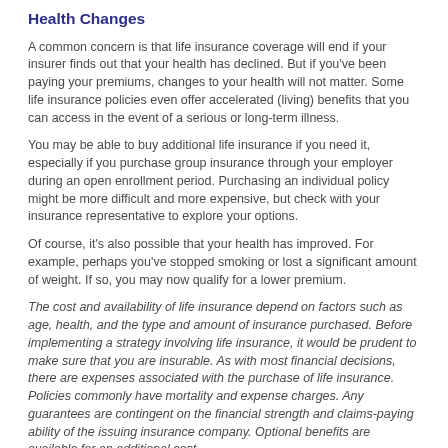Health Changes
A common concern is that life insurance coverage will end if your insurer finds out that your health has declined. But if you've been paying your premiums, changes to your health will not matter. Some life insurance policies even offer accelerated (living) benefits that you can access in the event of a serious or long-term illness.
You may be able to buy additional life insurance if you need it, especially if you purchase group insurance through your employer during an open enrollment period. Purchasing an individual policy might be more difficult and more expensive, but check with your insurance representative to explore your options.
Of course, it's also possible that your health has improved. For example, perhaps you've stopped smoking or lost a significant amount of weight. If so, you may now qualify for a lower premium.
The cost and availability of life insurance depend on factors such as age, health, and the type and amount of insurance purchased. Before implementing a strategy involving life insurance, it would be prudent to make sure that you are insurable. As with most financial decisions, there are expenses associated with the purchase of life insurance. Policies commonly have mortality and expense charges. Any guarantees are contingent on the financial strength and claims-paying ability of the issuing insurance company. Optional benefits are available for an additional cost